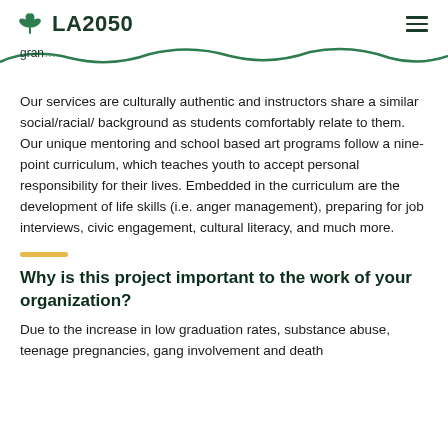LA2050
gran...
Our services are culturally authentic and instructors share a similar social/racial/ background as students comfortably relate to them. Our unique mentoring and school based art programs follow a nine-point curriculum, which teaches youth to accept personal responsibility for their lives. Embedded in the curriculum are the development of life skills (i.e. anger management), preparing for job interviews, civic engagement, cultural literacy, and much more.
Why is this project important to the work of your organization?
Due to the increase in low graduation rates, substance abuse, teenage pregnancies, gang involvement and death